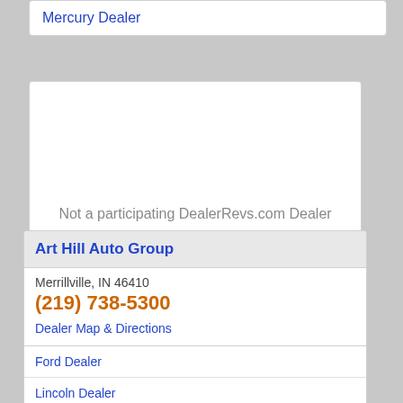Mercury Dealer
Not a participating DealerRevs.com Dealer
Claim Your Dealership
Art Hill Auto Group
Merrillville, IN 46410
(219) 738-5300
Dealer Map & Directions
Ford Dealer
Lincoln Dealer
Mazda Dealer